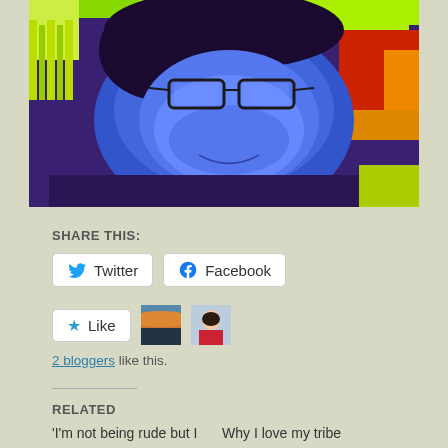[Figure (photo): A colorized/false-color infrared photo of a person wearing glasses, smiling at the camera. The image uses a heat-map style color palette with blues, greens, yellows, and reds.]
SHARE THIS:
Twitter  Facebook (share buttons)
Like  (Like button with 2 blogger avatars)
2 bloggers like this.
RELATED
'I'm not being rude but I     Why I love my tribe